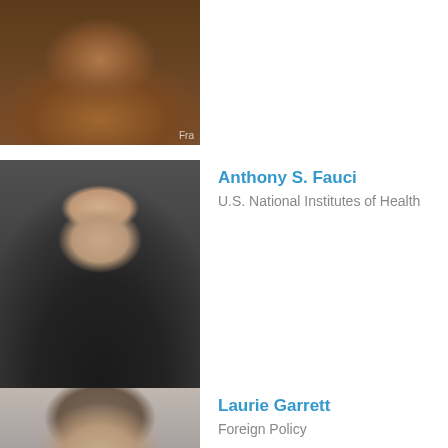[Figure (photo): Partial portrait photo of a person (cropped), showing lower face with grey beard, wearing patterned shirt. Watermark 'Fra' visible in bottom right corner.]
[Figure (photo): Portrait photo of Anthony S. Fauci in a dark suit with arms crossed against a dark grey background.]
Anthony S. Fauci
U.S. National Institutes of Health
[Figure (photo): Partial portrait photo of Laurie Garrett (cropped at bottom of page), showing top of head with curly hair.]
Laurie Garrett
Foreign Policy